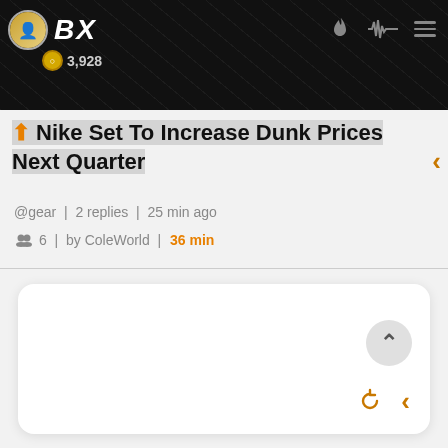BX  3,928
[Figure (screenshot): Dark banner/header image with BX logo, user avatar, score badge showing 3,928, and navigation icons (flame, waveform, hamburger menu)]
↑ Nike Set To Increase Dunk Prices Next Quarter
@gear  |  2 replies  |  25 min ago
👥 6  |  by ColeWorld  |  36 min
[Figure (screenshot): White rounded card content area with scroll-to-top button (chevron up), refresh icon, and back arrow at the bottom right]